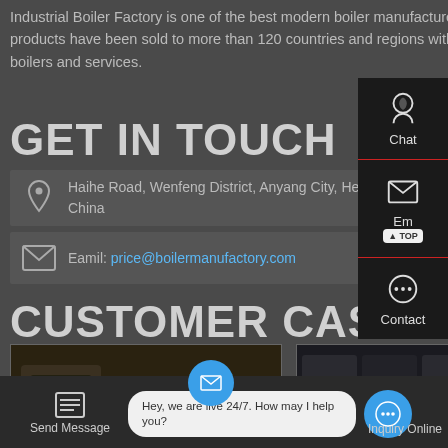Industrial Boiler Factory is one of the best modern boiler manufacturers in China. Our products have been sold to more than 120 countries and regions with high quality boilers and services.
GET IN TOUCH
Haihe Road, Wenfeng District, Anyang City, Henan Province, China
Eamil: price@boilermanufactory.com
CUSTOMER CASE
[Figure (photo): Industrial boiler equipment with yellow pipes and red machinery components]
[Figure (photo): Industrial boiler installation with yellow piping and red equipment components in a facility]
Chat
Email
Contact
Send Message
Hey, we are live 24/7. How may I help you?
Inquiry Online